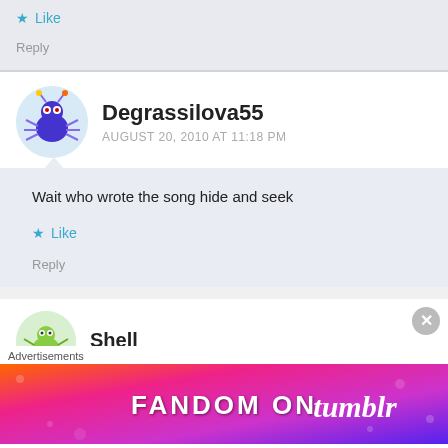Like
Reply
Degrassilova55
AUGUST 20, 2010 AT 11:18 PM
Wait who wrote the song hide and seek
Like
Reply
Shell
Advertisements
[Figure (illustration): Fandom on Tumblr advertisement banner with colorful gradient background]